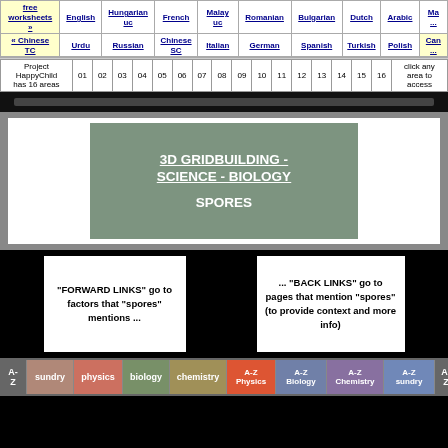| free worksheets » | English | Hungarian uc | French | Malay uc | Romanian | Bulgarian | Dutch | Arabic | Ma... |
| « Chinese TC | Urdu | Russian | Chinese SC | Italian | German | Spanish | Turkish | Polish | Can... |
| Project HappyChild has 16 areas | 01 | 02 | 03 | 04 | 05 | 06 | 07 | 08 | 09 | 10 | 11 | 12 | 13 | 14 | 15 | 16 | click any area to access |
3D GRIDBUILDING - SCIENCE - BIOLOGY

SPORES
"FORWARD LINKS" go to factors that "spores" mentions ...
... "BACK LINKS" go to pages that mention "spores" (to provide context and more info)
A-Z | sundry | physics | biology | chemistry | A-Z Physics | A-Z Biology | A-Z Chemistry | A-Z sundry | A-Z